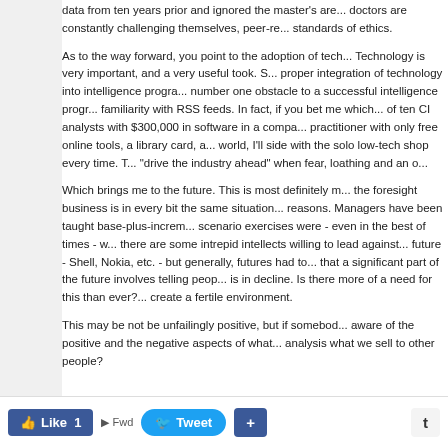data from ten years prior and ignored the master's degree. doctors are constantly challenging themselves, peer-reviewing standards of ethics.
As to the way forward, you point to the adoption of technology. Technology is very important, and a very useful took. S... proper integration of technology into intelligence programs... number one obstacle to a successful intelligence program... familiarity with RSS feeds. In fact, if you bet me which... of ten CI analysts with $300,000 in software in a company... practitioner with only free online tools, a library card, and... world, I'll side with the solo low-tech shop every time. T... "drive the industry ahead" when fear, loathing and an o...
Which brings me to the future. This is most definitely my... the foresight business is in every bit the same situation... reasons. Managers have been taught base-plus-incremental... scenario exercises were - even in the best of times - w... there are some intrepid intellects willing to lead against... future - Shell, Nokia, etc. - but generally, futures had to... that a significant part of the future involves telling people... is in decline. Is there more of a need for this than ever?... create a fertile environment.
This may be not be unfailingly positive, but if somebody... aware of the positive and the negative aspects of what... analysis what we sell to other people?
[Figure (screenshot): Social media sharing toolbar with Like (1), Tweet, plus (+), and t (Tumblr) buttons]